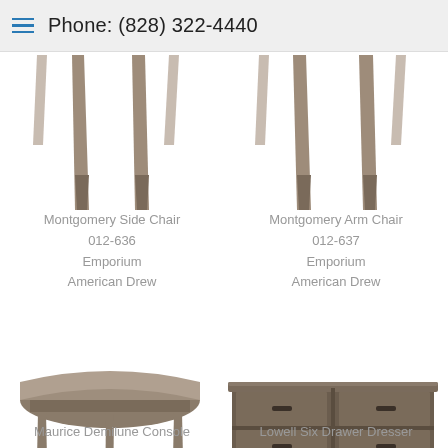Phone: (828) 322-4440
[Figure (photo): Bottom portion of a Montgomery Side Chair showing tapered wooden legs in a grayish-brown finish]
Montgomery Side Chair
012-636
Emporium
American Drew
[Figure (photo): Bottom portion of a Montgomery Arm Chair showing tapered wooden legs in a grayish-brown finish]
Montgomery Arm Chair
012-637
Emporium
American Drew
[Figure (photo): Maurice Demilune Console table with a half-moon top and curved stretcher, in a grayish-brown finish]
[Figure (photo): Lowell Six Drawer Dresser in a dark grayish-brown finish with two rows of three drawers and dark hardware]
Maurice Demilune Console
Lowell Six Drawer Dresser